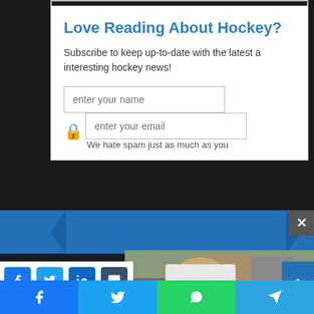Love Reading About Hockey?
Subscribe to keep up-to-date with the latest and interesting hockey news!
enter your name
enter your email
We hate spam just as much as you
[Figure (screenshot): Blue ribbon/banner bar across the page]
[Figure (photo): Video overlay showing a person wearing a hockey hat outdoors, with a mute button icon]
[Figure (infographic): Social share buttons: Facebook, Twitter, LinkedIn, Tumblr, and scroll-to-top]
[Figure (infographic): Bottom share bar with Facebook, Twitter, WhatsApp, Telegram icons]